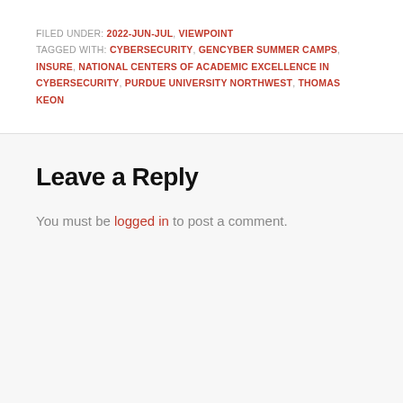FILED UNDER: 2022-JUN-JUL, VIEWPOINT
TAGGED WITH: CYBERSECURITY, GENCYBER SUMMER CAMPS, INSURE, NATIONAL CENTERS OF ACADEMIC EXCELLENCE IN CYBERSECURITY, PURDUE UNIVERSITY NORTHWEST, THOMAS KEON
Leave a Reply
You must be logged in to post a comment.
Search this website